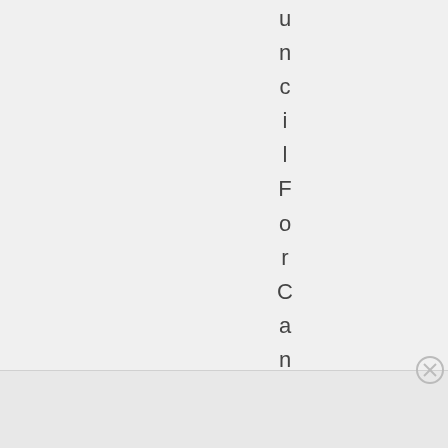u n c i l F o r C a n a d -
Advertisements
REPORT THIS AD